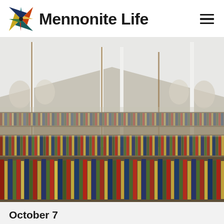Mennonite Life
[Figure (photo): Interior of a large white tent filled with hundreds of rows of books arranged for a book sale, with tall white support poles throughout the space and arched windows along the sides letting in light.]
October 7